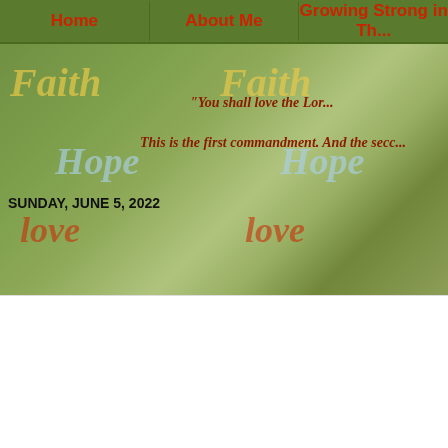Home | About Me | Growing Strong in Th...
[Figure (illustration): Hero banner with tree background, overlaid with watermark words Faith, Hope, Love in yellow, light blue, and red; scripture text reading: '"You shall love the Lord..." This is the first commandment. And the secc...']
SUNDAY, JUNE 5, 2022
A Poem for Thought - "Worship Who?"
[Figure (illustration): Thumbnail image split into two panels: left panel is green with gold italic text 'I worship only You upon my Knees' and a heart shape showing a cross silhouette; right panel is dark/black with gold italic text 'And you all your...']